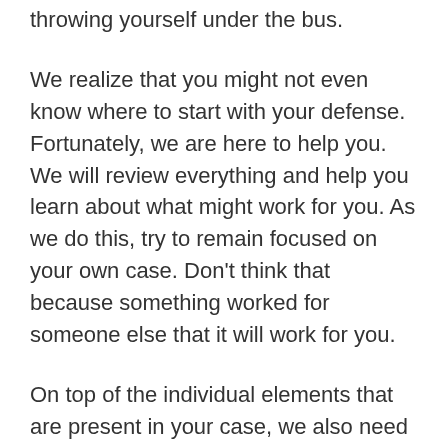throwing yourself under the bus.
We realize that you might not even know where to start with your defense. Fortunately, we are here to help you. We will review everything and help you learn about what might work for you. As we do this, try to remain focused on your own case. Don't think that because something worked for someone else that it will work for you.
On top of the individual elements that are present in your case, we also need to look at what we can do to minimize the possible penalties that you are facing. In some cases, this goal might be reached through a plea deal if you do admit that you did the crime at the center of the case.